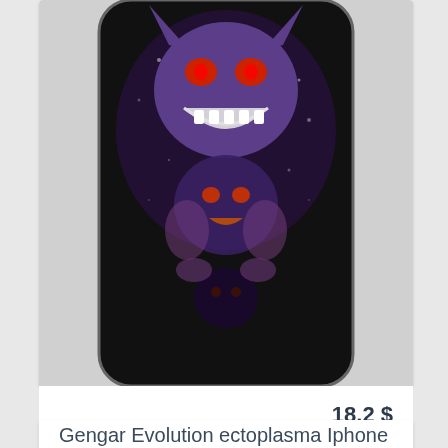[Figure (photo): iPhone case with Gengar Evolution ectoplasma artwork — dark black background with purple ghost Pokemon characters]
18.2 $
Gengar Evolution ectoplasma Iphone 6 4.7 case
[Figure (photo): Red and black swirl patterned iPhone case with dark floral embellishment and camera cutout visible]